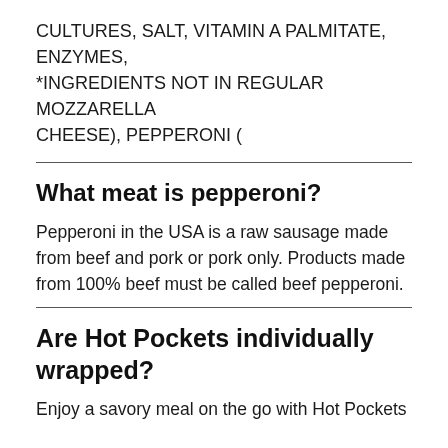CULTURES, SALT, VITAMIN A PALMITATE, ENZYMES, *INGREDIENTS NOT IN REGULAR MOZZARELLA CHEESE), PEPPERONI (
What meat is pepperoni?
Pepperoni in the USA is a raw sausage made from beef and pork or pork only. Products made from 100% beef must be called beef pepperoni.
Are Hot Pockets individually wrapped?
Enjoy a savory meal on the go with Hot Pockets